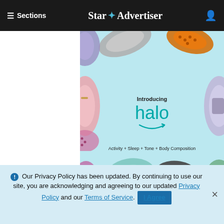≡ Sections  Star ✦ Advertiser  [user icon]
[Figure (photo): Amazon Halo fitness tracker advertisement showing multiple colorful wristbands on a light blue background. Text reads 'Introducing halo' with Amazon arrow smile logo and 'Activity + Sleep + Tone + Body Composition']
ADVERTISEMENT
ℹ Our Privacy Policy has been updated. By continuing to use our site, you are acknowledging and agreeing to our updated Privacy Policy and our Terms of Service. I Agree